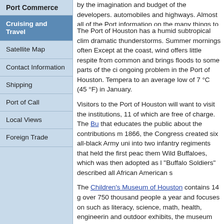Port Commerce
Cruising and Travel
Satellite Map
Contact Information
Shipping
Port of Call
Local Views
Foreign Trade
by the imagination and budget of the developers. automobiles and highways. Almost all of the Port information on the many things to see and do in th
The Port of Houston has a humid subtropical clim dramatic thunderstorms. Summer mornings often Except at the coast, wind offers little respite from common and brings floods to some parts of the ci ongoing problem in the Port of Houston. Tempera to an average low of 7 °C (45 °F) in January.
Visitors to the Port of Houston will want to visit the institutions, 11 of which are free of charge. The Bu that educates the public about the contributions m 1866, the Congress created six all-black Army uni into two infantry regiments that held the first peac them Wild Buffaloes, which was then adopted as l "Buffalo Soldiers" described all African American s
The Children's Museum of Houston contains 14 g over 750 thousand people a year and focuses on such as literacy, science, math, health, engineerin and outdoor exhibits, the museum offers a theater infants to two years old. It also has a very popular this popular Port of Houston museum is usually ve
The Byzantine Fresco Chapel Museum holds two Western Hemisphere. The Contemporary Arts Mu from the last 40 years. The Czech Cultural Center Moravia, Slovakia, and Silesia. The Port of Housto anatomy and interactive exhibits. The Holocaust M World War II Holocaust. The Houston Center for C highest level: glass, fiber, clay, metal, and wood a